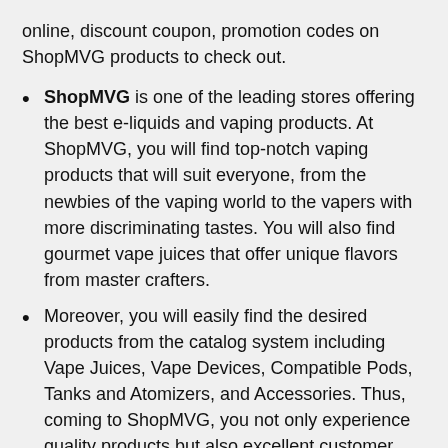online, discount coupon, promotion codes on ShopMVG products to check out.
ShopMVG is one of the leading stores offering the best e-liquids and vaping products. At ShopMVG, you will find top-notch vaping products that will suit everyone, from the newbies of the vaping world to the vapers with more discriminating tastes. You will also find gourmet vape juices that offer unique flavors from master crafters.
Moreover, you will easily find the desired products from the catalog system including Vape Juices, Vape Devices, Compatible Pods, Tanks and Atomizers, and Accessories. Thus, coming to ShopMVG, you not only experience quality products but also excellent customer service.
If you want to get more information about products. Please, visit the official website here